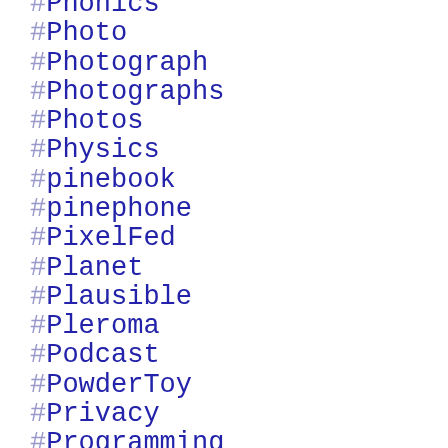#Phonics
#Photo
#Photograph
#Photographs
#Photos
#Physics
#pinebook
#pinephone
#PixelFed
#Planet
#Plausible
#Pleroma
#Podcast
#PowderToy
#Privacy
#Programming
#ProtoSchool
#Public
#Purism